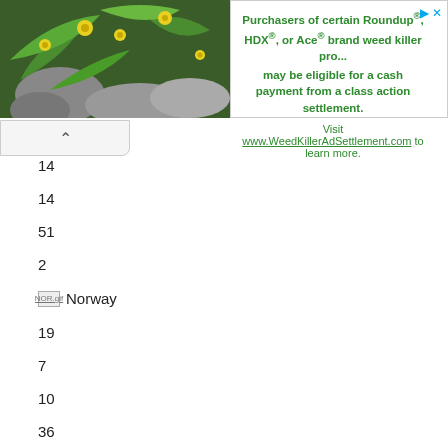[Figure (other): Advertisement banner with plant/flower image on left and weed killer class action settlement text on right]
14
14
51
2
NOR.gif Norway
19
7
10
36
3
GER.gif Germany